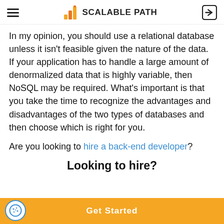SCALABLE PATH
In my opinion, you should use a relational database unless it isn't feasible given the nature of the data. If your application has to handle a large amount of denormalized data that is highly variable, then NoSQL may be required. What's important is that you take the time to recognize the advantages and disadvantages of the two types of databases and then choose which is right for you.
Are you looking to hire a back-end developer?
Looking to hire?
Get Started